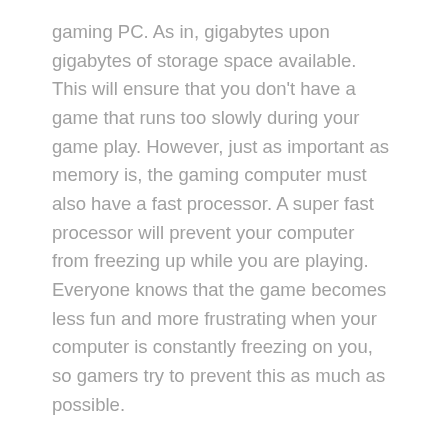gaming PC. As in, gigabytes upon gigabytes of storage space available. This will ensure that you don't have a game that runs too slowly during your game play. However, just as important as memory is, the gaming computer must also have a fast processor. A super fast processor will prevent your computer from freezing up while you are playing. Everyone knows that the game becomes less fun and more frustrating when your computer is constantly freezing on you, so gamers try to prevent this as much as possible.
If you like games that are intense on graphics and sound, then you need to have the best graphics cards as well as the best sound cards installed into your computer. A gaming computer has this. These computers have the top of the line in all hardware, and graphics and sound cards are a necessity to avoid choppy graphics and a poor sound experience during your game.